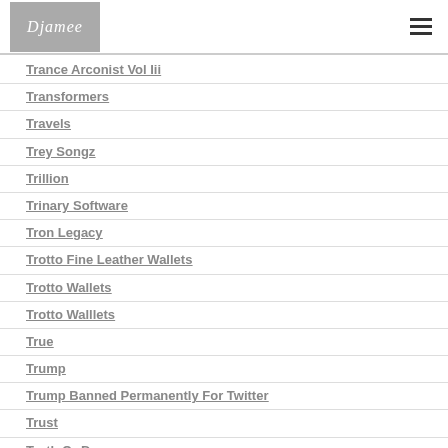Djamee
Trance Arconist Vol Iii
Transformers
Travels
Trey Songz
Trillion
Trinary Software
Tron Legacy
Trotto Fine Leather Wallets
Trotto Wallets
Trotto Walllets
True
Trump
Trump Banned Permanently For Twitter
Trust
Truth Or Dare
Tumblr